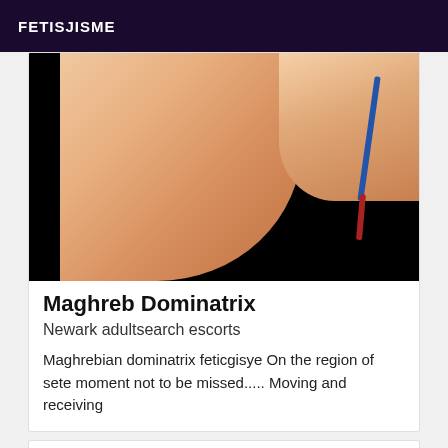FETISJISME
[Figure (photo): Close-up photo with dark background on sides and skin-toned subject in center-right, with blue and red straps visible on the right side]
Maghreb Dominatrix
Newark adultsearch escorts
Maghrebian dominatrix feticgisye On the region of sete moment not to be missed..... Moving and receiving